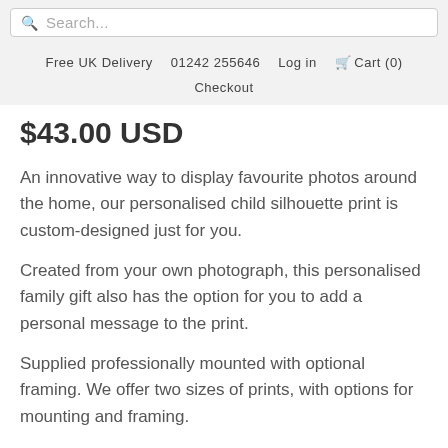Search... Free UK Delivery 01242 255646 Log in Cart (0) Checkout
$43.00 USD
An innovative way to display favourite photos around the home, our personalised child silhouette print is custom-designed just for you.
Created from your own photograph, this personalised family gift also has the option for you to add a personal message to the print.
Supplied professionally mounted with optional framing. We offer two sizes of prints, with options for mounting and framing.